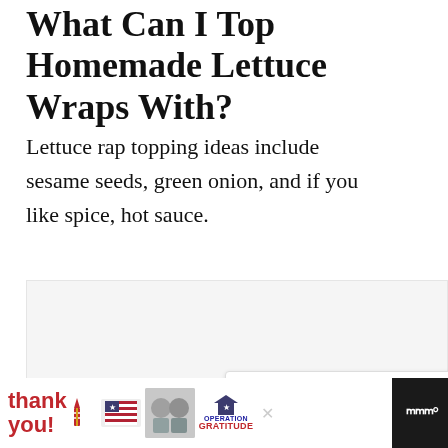What Can I Top Homemade Lettuce Wraps With?
Lettuce rap topping ideas include sesame seeds, green onion, and if you like spice, hot sauce.
[Figure (photo): Image placeholder area showing a recipe photo, with a heart/like button (342 likes) and a share button overlaid on the right side, plus a 'What's Next' card showing Chicken Caesar...]
[Figure (screenshot): Advertisement banner at bottom: 'Thank you!' handwritten with American flag design, photo of people in masks holding cards, Operation Gratitude logo with star, close button, and Wm° logo on dark background]